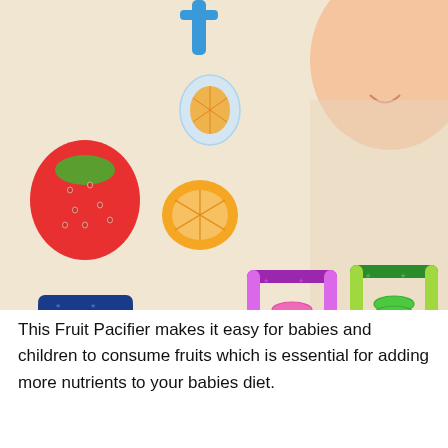[Figure (photo): Product image showing multiple colorful baby fruit pacifiers/feeders in blue, pink, and green colors, along with fresh fruits (strawberry and orange slices). A baby's face is partially visible in the top right corner.]
This Fruit Pacifier makes it easy for babies and children to consume fruits which is essential for adding more nutrients to your babies diet.